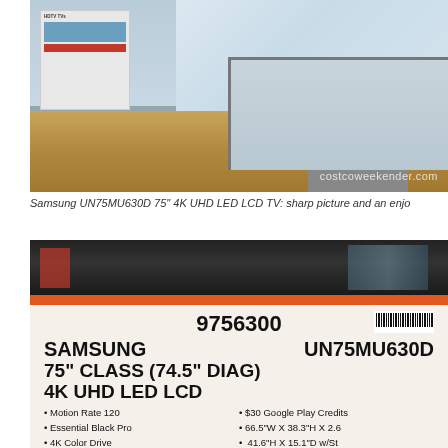[Figure (photo): Photo of Samsung UN75MU630D 75-inch TV on display at Costco warehouse, showing a winter forest scene on screen, with wood pallet and product signage visible. Watermark: costcoweekender.com]
Samsung UN75MU630D 75" 4K UHD LED LCD TV: sharp picture and an enjo
[Figure (photo): Photo of Costco price/product label for Samsung UN75MU630D 75" Class 4K UHD LED LCD TV. Item number 9756300. Bullet points: Motion Rate 120, Essential Black Pro, 4K Color Drive, 3840 X 2160 Resolution, $30 Google Play Credits, 66.5"W X 38.3"H X 2.6, 41.6"H X 15.1"D w/St, 2 Year Warranty]